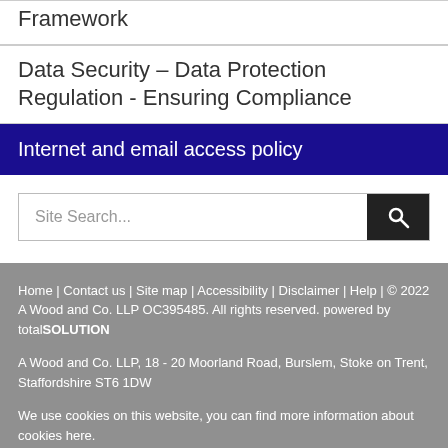Framework
Data Security – Data Protection Regulation - Ensuring Compliance
Internet and email access policy
Site Search...
Home | Contact us | Site map | Accessibility | Disclaimer | Help | © 2022 A Wood and Co. LLP OC395485. All rights reserved. powered by totalSOLUTION

A Wood and Co. LLP, 18 - 20 Moorland Road, Burslem, Stoke on Trent, Staffordshire ST6 1DW

We use cookies on this website, you can find more information about cookies here.